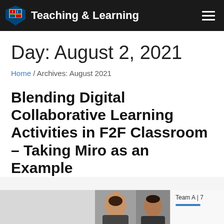Teaching & Learning
Day: August 2, 2021
Home / Archives: August 2021
Blending Digital Collaborative Learning Activities in F2F Classroom – Taking Miro as an Example
[Figure (photo): Bottom strip showing partial screenshots including a person's face and a Team A panel]